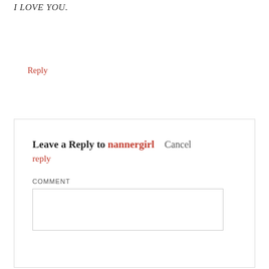I LOVE YOU.
Reply
Leave a Reply to nannergirl   Cancel reply
COMMENT